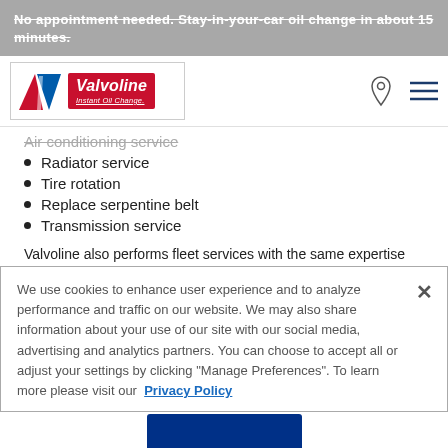No appointment needed. Stay-in-your-car oil change in about 15 minutes.
[Figure (logo): Valvoline Instant Oil Change logo with red V chevron and blue V chevron]
Air conditioning service
Radiator service
Tire rotation
Replace serpentine belt
Transmission service
Valvoline also performs fleet services with the same expertise and attention to detail. We're proud to say that satisfied customers in
We use cookies to enhance user experience and to analyze performance and traffic on our website. We may also share information about your use of our site with our social media, advertising and analytics partners. You can choose to accept all or adjust your settings by clicking "Manage Preferences". To learn more please visit our Privacy Policy